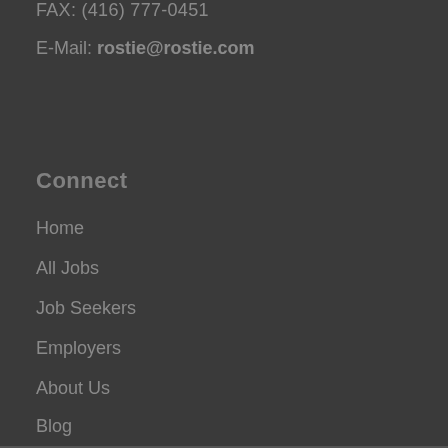FAX: (416) 777-0451
E-Mail: rostie@rostie.com
Connect
Home
All Jobs
Job Seekers
Employers
About Us
Blog